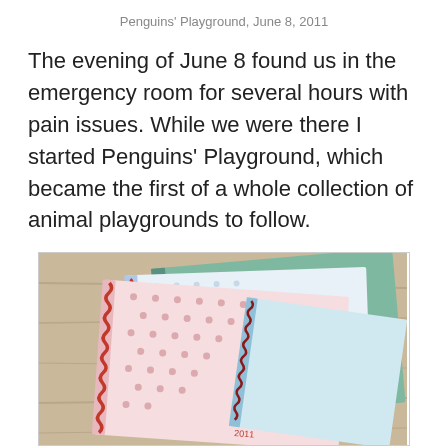Penguins' Playground, June 8, 2011
The evening of June 8 found us in the emergency room for several hours with pain issues. While we were there I started Penguins' Playground, which became the first of a whole collection of animal playgrounds to follow.
[Figure (photo): Photo of several spiral-bound notebooks with polka-dot covers fanned out on a wooden surface, with red spiral bindings visible.]